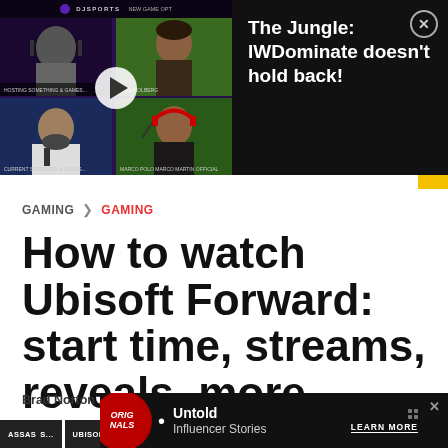[Figure (screenshot): Video thumbnail showing a gaming/esports stream with multiple panelists on green screen and dark backgrounds, with a play button overlay. Includes a DJ Sports logo bar at top and text overlay at bottom.]
The Jungle: IWDominate doesn't hold back!
GAMING > GAMING
How to watch Ubisoft Forward: start time, streams, reveals, more
Brad Norton . Last updated: Jul 07, 2020
[Figure (screenshot): Ad banner at the bottom showing 'Originals' logo circle and 'Untold Influencer Stories' text with a LEARN MORE button and close X, on dark background.]